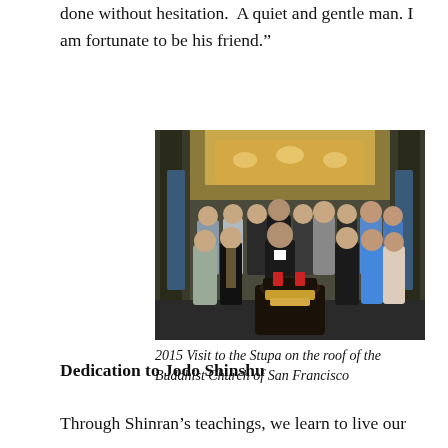done without hesitation. A quiet and gentle man. I am fortunate to be his friend."
[Figure (photo): Group photo of approximately 15-16 people standing inside a Buddhist temple in front of an ornate altar with a decorative incense burner in the foreground. Taken in 2015.]
2015 Visit to the Stupa on the roof of the Buddhist Church of San Francisco
Dedication to Jodo Shinshu
Through Shinran’s teachings, we learn to live our